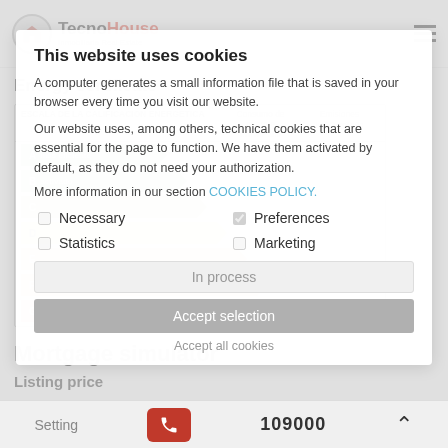TecnoHouse - Inmobiliaria Real Estate
Energy certificate
[Figure (other): Energy efficiency rating scale (ESCALA DE LA CALIFICACIÓN ENERGÉTICA) showing ratings A through G with colored arrow bars from green (A, más eficiente) to red (G, menos eficiente), with columns for Consumo de energía and Emisiones]
Mortgage simulator
Listing price
109000
[Figure (screenshot): Cookie consent overlay with title 'This website uses cookies', explanatory text, checkboxes for Necessary, Preferences, Statistics, Marketing, an 'In process' status area, 'Accept selection' button, 'Accept all cookies' option, and 'Setting' button]
Setting | 109000 | phone icon | up arrow